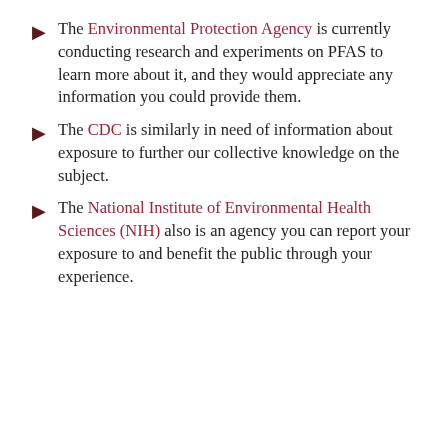The Environmental Protection Agency is currently conducting research and experiments on PFAS to learn more about it, and they would appreciate any information you could provide them.
The CDC is similarly in need of information about exposure to further our collective knowledge on the subject.
The National Institute of Environmental Health Sciences (NIH) also is an agency you can report your exposure to and benefit the public through your experience.